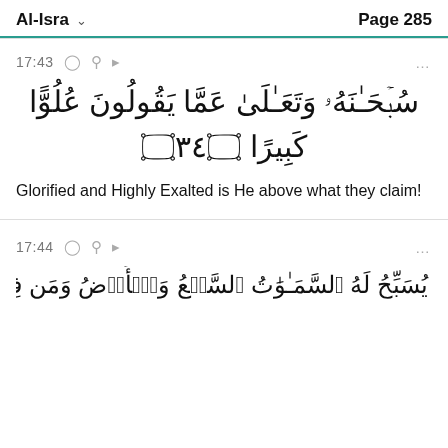Al-Isra   Page 285
17:43
سُبۡحَـٰنَهُۥ وَتَعَـٰلَىٰ عَمَّا يَقُولُونَ عُلُوًّا كَبِيرًا ﴿٤٣﴾
Glorified and Highly Exalted is He above what they claim!
17:44
(Arabic text of verse 17:44)